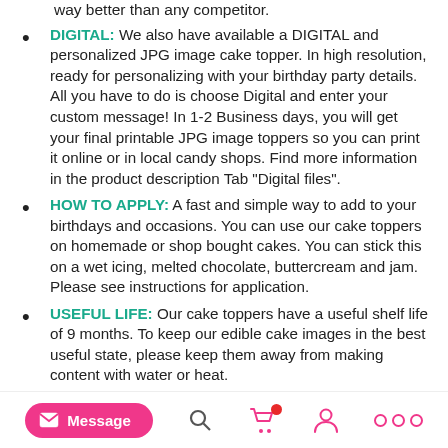way better than any competitor.
DIGITAL: We also have available a DIGITAL and personalized JPG image cake topper. In high resolution, ready for personalizing with your birthday party details. All you have to do is choose Digital and enter your custom message! In 1-2 Business days, you will get your final printable JPG image toppers so you can print it online or in local candy shops. Find more information in the product description Tab "Digital files".
HOW TO APPLY: A fast and simple way to add to your birthdays and occasions. You can use our cake toppers on homemade or shop bought cakes. You can stick this on a wet icing, melted chocolate, buttercream and jam. Please see instructions for application.
USEFUL LIFE: Our cake toppers have a useful shelf life of 9 months. To keep our edible cake images in the best useful state, please keep them away from making content with water or heat.
INGREDIENTS: The health of your consumers is a top priority for us. We make use of raw materials obtained from nature, and adhere to standard processes to extract those preserving their natural attributes.